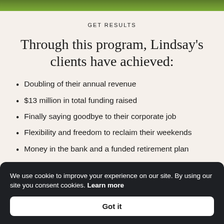[Figure (photo): Grass/lawn strip at top of the page]
GET RESULTS
Through this program, Lindsay's clients have achieved:
Doubling of their annual revenue
$13 million in total funding raised
Finally saying goodbye to their corporate job
Flexibility and freedom to reclaim their weekends
Money in the bank and a funded retirement plan
We use cookie to improve your experience on our site. By using our site you consent cookies. Learn more
Got it